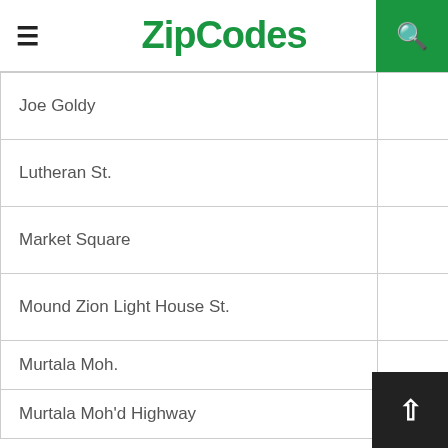ZipCodes
| Street/Area | Zip Code |
| --- | --- |
| Joe Goldy | 540213 |
| Lutheran St. | 540213 |
| Market Square | 540213 |
| Mound Zion Light House St. | 540213 |
| Murtala Moh. | 5402... |
| Murtala Moh'd Highway | 5402 |